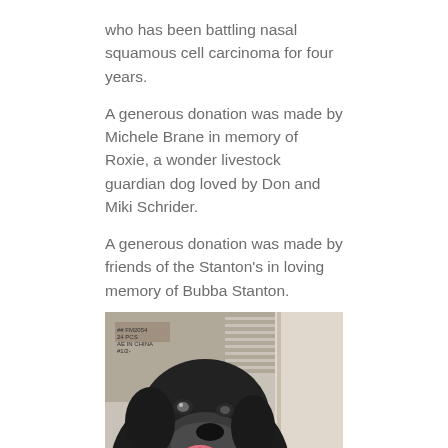who has been battling nasal squamous cell carcinoma for four years.
A generous donation was made by Michele Brane in memory of Roxie, a wonder livestock guardian dog loved by Don and Miki Schrider.
A generous donation was made by friends of the Stanton's in loving memory of Bubba Stanton.
[Figure (photo): A black dog (Labrador-type) facing slightly right with tongue out, photographed indoors near a door and shelves. The dog has a graying muzzle and is wearing a collar.]